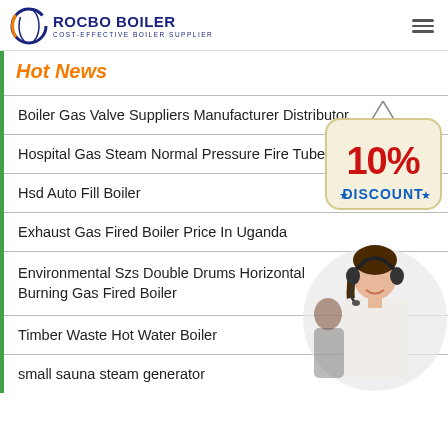ROCBO BOILER — COST-EFFECTIVE BOILER SUPPLIER
Hot News
Boiler Gas Valve Suppliers Manufacturer Distributor
Hospital Gas Steam Normal Pressure Fire Tube Boiler
Hsd Auto Fill Boiler
Exhaust Gas Fired Boiler Price In Uganda
Environmental Szs Double Drums Horizontal Burning Gas Fired Boiler
Timber Waste Hot Water Boiler
small sauna steam generator
[Figure (illustration): 10% DISCOUNT badge hanging sign]
[Figure (photo): Customer service woman with headset smiling]